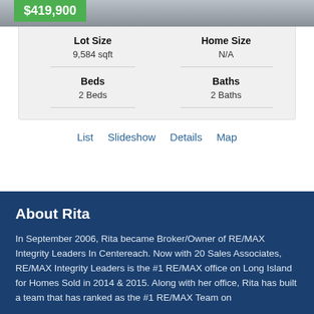[Figure (photo): Property listing photo with green price badge showing $419,900]
| Lot Size | Home Size |
| --- | --- |
| 9,584 sqft | N/A |
| Beds | Baths |
| --- | --- |
| 2 Beds | 2 Baths |
List  Slideshow  Details  Map
About Rita
In September 2006, Rita became Broker/Owner of RE/MAX Integrity Leaders In Centereach. Now with 20 Sales Associates, RE/MAX Integrity Leaders is the #1 RE/MAX office on Long Island for Homes Sold in 2014 & 2015. Along with her office, Rita has built a team that has ranked as the #1 RE/MAX Team on